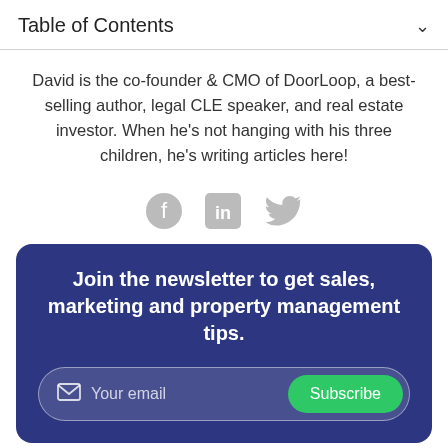Table of Contents
David is the co-founder & CMO of DoorLoop, a best-selling author, legal CLE speaker, and real estate investor. When he's not hanging with his three children, he's writing articles here!
[Figure (illustration): Social media icons: Facebook, LinkedIn, Twitter in gray]
Join the newsletter to get sales, marketing and property management tips.
Your email  Subscribe